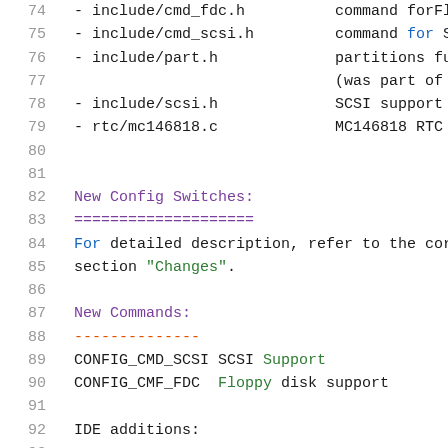74  - include/cmd_fdc.h   command forFloppy...
75  - include/cmd_scsi.h  command for SCSI...
76  - include/part.h      partitions func...
77                        (was part of u-b...
78  - include/scsi.h      SCSI support
79  - rtc/mc146818.c      MC146818 RTC su...
80
81
82  New Config Switches:
83  ====================
84  For detailed description, refer to the correspo...
85  section "Changes".
86
87  New Commands:
88  --------------
89  CONFIG_CMD_SCSI SCSI Support
90  CONFIG_CMF_FDC  Floppy disk support
91
92  IDE additions:
93  --------------
94  CONFIG_IDE_RESET_ROUTINE  defines that ins...
95                            the routine ide...